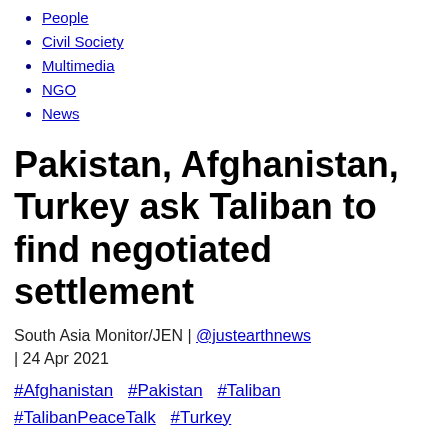People
Civil Society
Multimedia
NGO
News
Pakistan, Afghanistan, Turkey ask Taliban to find negotiated settlement
South Asia Monitor/JEN | @justearthnews | 24 Apr 2021
#Afghanistan  #Pakistan  #Taliban  #TalibanPeaceTalk  #Turkey